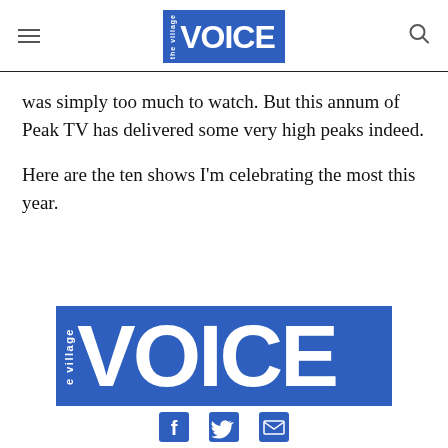the village VOICE
was simply too much to watch. But this annum of Peak TV has delivered some very high peaks indeed.
Here are the ten shows I’m celebrating the most this year.
[Figure (logo): Village Voice logo — blue rectangle with 'the village' in small rotated text and 'VOICE' in large bold white letters]
Facebook, Twitter, Email social share icons